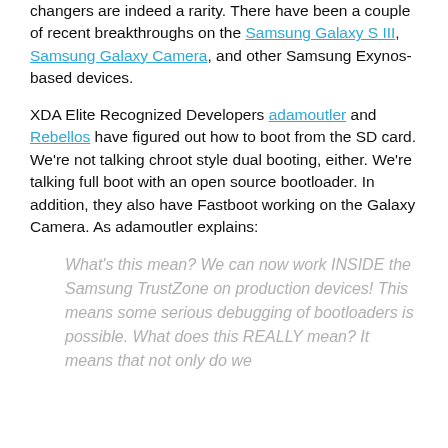changers are indeed a rarity. There have been a couple of recent breakthroughs on the Samsung Galaxy S III, Samsung Galaxy Camera, and other Samsung Exynos-based devices.
XDA Elite Recognized Developers adamoutler and Rebellos have figured out how to boot from the SD card. We're not talking chroot style dual booting, either. We're talking full boot with an open source bootloader. In addition, they also have Fastboot working on the Galaxy Camera. As adamoutler explains:
What's this mean? We can now work INSIDE the Samsung TrustZone on production devices! This means some serious debugging of bootloaders is possible. What does this REALLY mean? It means that not only do we